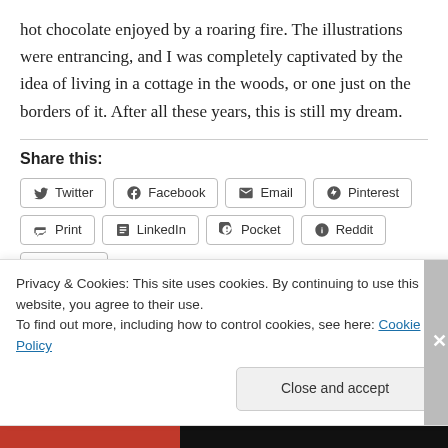hot chocolate enjoyed by a roaring fire. The illustrations were entrancing, and I was completely captivated by the idea of living in a cottage in the woods, or one just on the borders of it. After all these years, this is still my dream.
Share this:
Twitter Facebook Email Pinterest Print LinkedIn Pocket Reddit Tumblr
Privacy & Cookies: This site uses cookies. By continuing to use this website, you agree to their use.
To find out more, including how to control cookies, see here: Cookie Policy
Close and accept